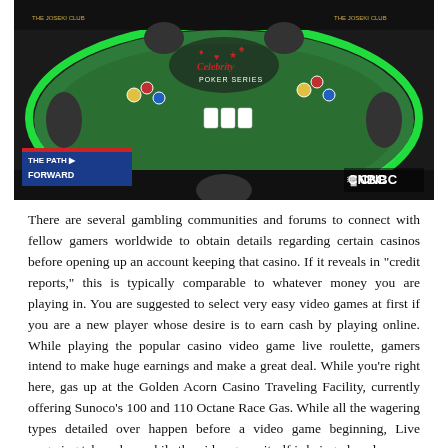[Figure (photo): A poker table with green felt, people playing poker, Celebrity Poker logo visible on the table, CNBC logo and 'The Path Forward' overlay text in bottom-left corner.]
There are several gambling communities and forums to connect with fellow gamers worldwide to obtain details regarding certain casinos before opening up an account keeping that casino. If it reveals in "credit reports," this is typically comparable to whatever money you are playing in. You are suggested to select very easy video games at first if you are a new player whose desire is to earn cash by playing online. While playing the popular casino video game live roulette, gamers intend to make huge earnings and make a great deal. While you're right here, gas up at the Golden Acorn Casino Traveling Facility, currently offering Sunoco's 100 and 110 Octane Race Gas. While all the wagering types detailed over happen before a video game beginning, Live wagering takes place while the video game itself is being played.